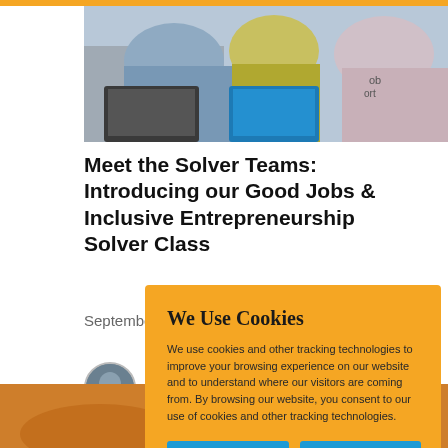[Figure (photo): Photo of people working on laptops, viewed from above/side angle, includes blue and yellow-green laptop]
Meet the Solver Teams: Introducing our Good Jobs & Inclusive Entrepreneurship Solver Class
September 29, 2020
[Figure (photo): Small circular avatar/profile photo of a person]
Eve
[Figure (photo): Bottom strip image, warm orange/golden toned outdoor scene]
We Use Cookies

We use cookies and other tracking technologies to improve your browsing experience on our website and to understand where our visitors are coming from. By browsing our website, you consent to our use of cookies and other tracking technologies.

ACCEPT    REJECT